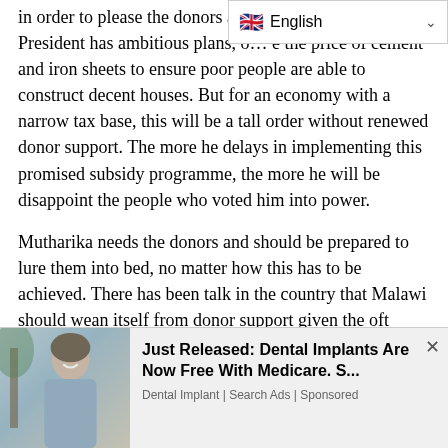in order to please the donors and ... the President has ambitious plans, o... the price of cement and iron sheets to ensure poor people are able to construct decent houses. But for an economy with a narrow tax base, this will be a tall order without renewed donor support. The more he delays in implementing this promised subsidy programme, the more he will be disappoint the people who voted him into power.
Mutharika needs the donors and should be prepared to lure them into bed, no matter how this has to be achieved. There has been talk in the country that Malawi should wean itself from donor support given the oft unpredictable nature of their giving. But that time is not now. They are the devil he should be prepared to dine with, at least for now, as he works to assuage his image as Bingu's brother
[Figure (other): Advertisement banner: Photo of a smiling woman outdoors with text 'Just Released: Dental Implants Are Now Free With Medicare. S...' and source 'Dental Implant | Search Ads | Sponsored' with a close (x) button.]